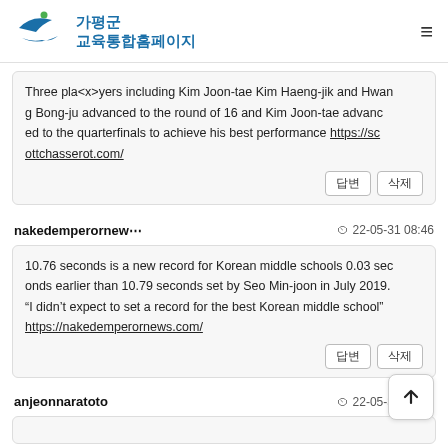가평군 교육통합홈페이지
Three pla<x>yers including Kim Joon-tae Kim Haeng-jik and Hwang Bong-ju advanced to the round of 16 and Kim Joon-tae advanced to the quarterfinals to achieve his best performance https://scottchasserot.com/
답변 삭제
nakedemperornew···
22-05-31 08:46
10.76 seconds is a new record for Korean middle schools 0.03 seconds earlier than 10.79 seconds set by Seo Min-joon in July 2019. "I didn't expect to set a record for the best Korean middle school" https://nakedemperornews.com/
답변 삭제
anjeonnaratoto
22-05-31 08:46